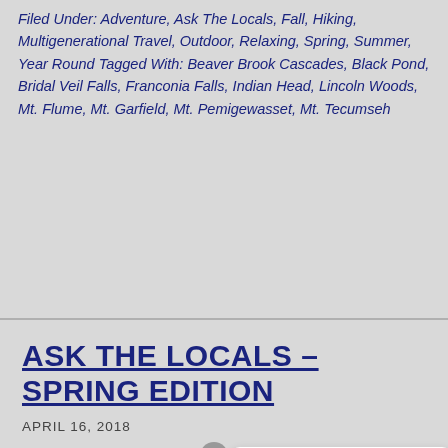Filed Under: Adventure, Ask The Locals, Fall, Hiking, Multigenerational Travel, Outdoor, Relaxing, Spring, Summer, Year Round Tagged With: Beaver Brook Cascades, Black Pond, Bridal Veil Falls, Franconia Falls, Indian Head, Lincoln Woods, Mt. Flume, Mt. Garfield, Mt. Pemigewasset, Mt. Tecumseh
ASK THE LOCALS – SPRING EDITION
APRIL 16, 2018
[Figure (screenshot): Chat widget overlay showing a robot assistant with a speech bubble: 'Welcome to the Western White Mountains! Can we help you find something specific?' with a close button and a dark photo thumbnail on the left.]